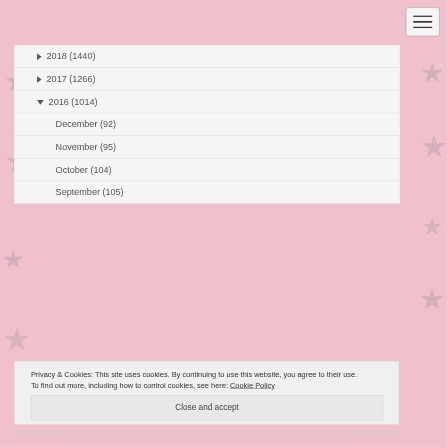► 2018 (1440)
► 2017 (1266)
▼ 2016 (1014)
December (92)
November (95)
October (104)
September (105)
Privacy & Cookies: This site uses cookies. By continuing to use this website, you agree to their use.
To find out more, including how to control cookies, see here: Cookie Policy
Close and accept